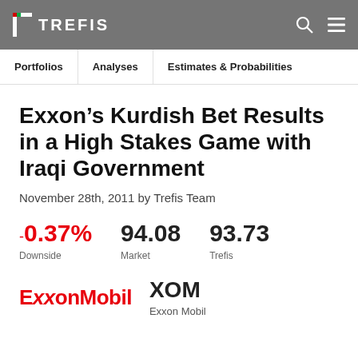TREFIS
Portfolios | Analyses | Estimates & Probabilities
Exxon’s Kurdish Bet Results in a High Stakes Game with Iraqi Government
November 28th, 2011 by Trefis Team
-0.37% Downside | 94.08 Market | 93.73 Trefis
[Figure (logo): ExxonMobil logo in red and XOM ticker with Exxon Mobil label]